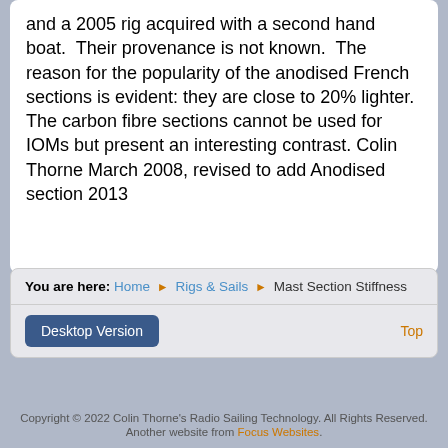and a 2005 rig acquired with a second hand boat.  Their provenance is not known.  The reason for the popularity of the anodised French sections is evident: they are close to 20% lighter.  The carbon fibre sections cannot be used for IOMs but present an interesting contrast.  Colin Thorne March 2008, revised to add Anodised section 2013
You are here: Home > Rigs & Sails > Mast Section Stiffness
Desktop Version | Top
Copyright © 2022 Colin Thorne's Radio Sailing Technology. All Rights Reserved. Another website from Focus Websites.